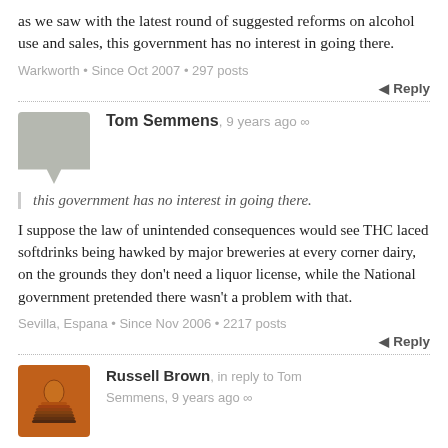as we saw with the latest round of suggested reforms on alcohol use and sales, this government has no interest in going there.
Warkworth • Since Oct 2007 • 297 posts
Reply
Tom Semmens, 9 years ago ∞
this government has no interest in going there.
I suppose the law of unintended consequences would see THC laced softdrinks being hawked by major breweries at every corner dairy, on the grounds they don't need a liquor license, while the National government pretended there wasn't a problem with that.
Sevilla, Espana • Since Nov 2006 • 2217 posts
Reply
Russell Brown, in reply to Tom Semmens, 9 years ago ∞